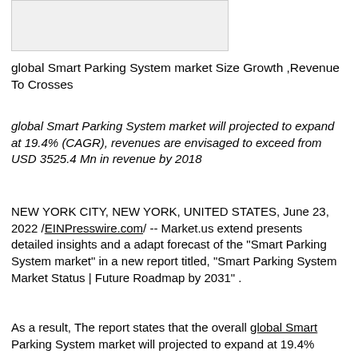[Figure (other): Light gray image placeholder at top left of page]
global Smart Parking System market Size Growth ,Revenue To Crosses
global Smart Parking System market will projected to expand at 19.4% (CAGR), revenues are envisaged to exceed from USD 3525.4 Mn in revenue by 2018
NEW YORK CITY, NEW YORK, UNITED STATES, June 23, 2022 /EINPresswire.com/ -- Market.us extend presents detailed insights and a adapt forecast of the "Smart Parking System market" in a new report titled, "Smart Parking System Market Status | Future Roadmap by 2031" .
As a result, The report states that the overall global Smart Parking System market will projected to expand at 19.4%